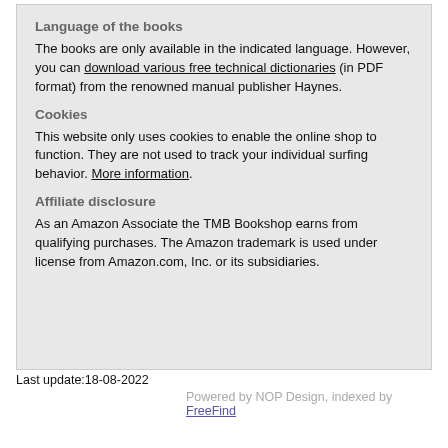Language of the books
The books are only available in the indicated language. However, you can download various free technical dictionaries (in PDF format) from the renowned manual publisher Haynes.
Cookies
This website only uses cookies to enable the online shop to function. They are not used to track your individual surfing behavior. More information.
Affiliate disclosure
As an Amazon Associate the TMB Bookshop earns from qualifying purchases. The Amazon trademark is used under license from Amazon.com, Inc. or its subsidiaries.
Last update:18-08-2022
Powered by NOP Design, indexed by FreeFind